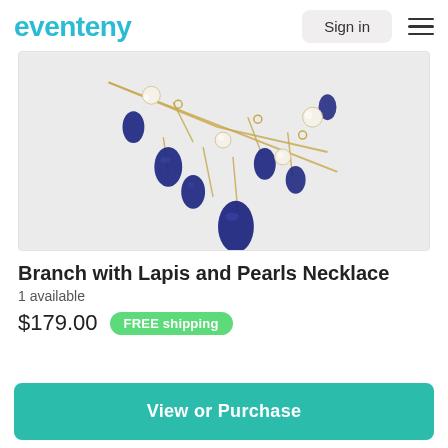eventeny  Sign in
[Figure (photo): A gold chain necklace with deep blue lapis lazuli teardrop pendants and white pearl beads, photographed on a light grey background.]
Branch with Lapis and Pearls Necklace
1 available
$179.00  FREE shipping
View or Purchase